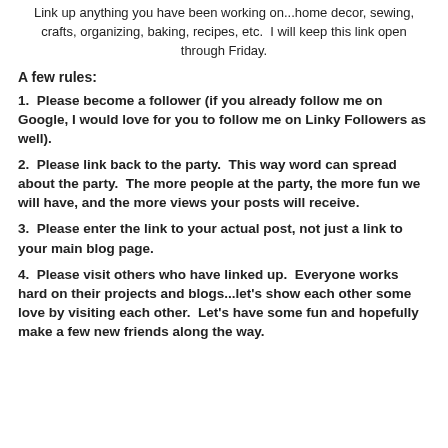Link up anything you have been working on...home decor, sewing, crafts, organizing, baking, recipes, etc.  I will keep this link open through Friday.
A few rules:
1.  Please become a follower (if you already follow me on Google, I would love for you to follow me on Linky Followers as well).
2.  Please link back to the party.  This way word can spread about the party.  The more people at the party, the more fun we will have, and the more views your posts will receive.
3.  Please enter the link to your actual post, not just a link to your main blog page.
4.  Please visit others who have linked up.  Everyone works hard on their projects and blogs...let's show each other some love by visiting each other.  Let's have some fun and hopefully make a few new friends along the way.